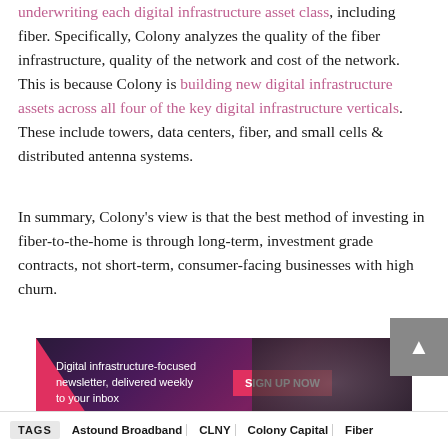underwriting each digital infrastructure asset class, including fiber. Specifically, Colony analyzes the quality of the fiber infrastructure, quality of the network and cost of the network. This is because Colony is building new digital infrastructure assets across all four of the key digital infrastructure verticals. These include towers, data centers, fiber, and small cells & distributed antenna systems.
In summary, Colony's view is that the best method of investing in fiber-to-the-home is through long-term, investment grade contracts, not short-term, consumer-facing businesses with high churn.
[Figure (infographic): Banner advertisement for a digital infrastructure-focused newsletter. Dark purple/magenta gradient background with a pink triangle on the left and a dark image of infrastructure on the right. Text reads: 'Digital infrastructure-focused newsletter, delivered weekly to your inbox' with a pink 'SIGN UP NOW' button.]
TAGS   Astound Broadband   CLNY   Colony Capital   Fiber